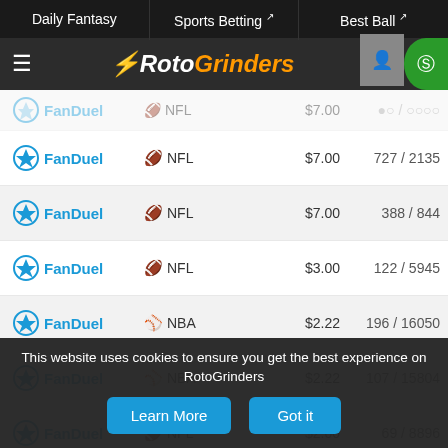Daily Fantasy | Sports Betting | Best Ball
[Figure (logo): RotoGrinders logo with orange and white italic text]
| Site | Sport | Buy-in | Entries |
| --- | --- | --- | --- |
| FanDuel | NFL | $7.00 | 727 / 2135 |
| FanDuel | NFL | $7.00 | 388 / 844 |
| FanDuel | NFL | $3.00 | 122 / 5945 |
| FanDuel | NBA | $2.22 | 196 / 16050 |
| FanDuel | NBA | $2.22 | 107 / 15804 |
| FanDuel | NFL | $2.00 | 69 / 8896 |
| FanDuel | MLB | $2.22 | 94 / 5354 |
| FanDuel | NBA | $2.22 | 202 / 13285 |
This website uses cookies to ensure you get the best experience on RotoGrinders
Learn More | Got it